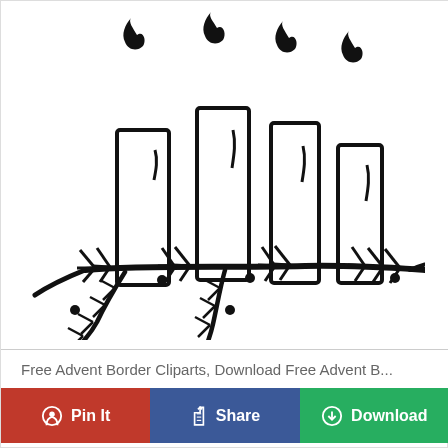[Figure (illustration): Black and white hand-drawn illustration of four advent candles of varying heights arranged on a pine branch with decorative foliage beneath them, with flames on top of each candle.]
Free Advent Border Cliparts, Download Free Advent B...
Pin It
Share
Download